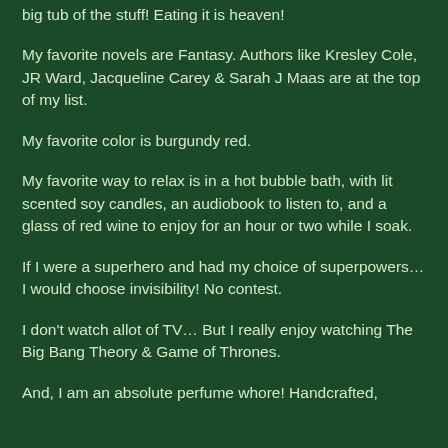big tub of the stuff! Eating it is heaven!
My favorite novels are Fantasy. Authors like Kresley Cole, JR Ward, Jacqueline Carey & Sarah J Maas are at the top of my list.
My favorite color is burgundy red.
My favorite way to relax is in a hot bubble bath, with lit scented soy candles, an audiobook to listen to, and a glass of red wine to enjoy for an hour or two while I soak.
If I were a superhero and had my choice of superpowers… I would choose invisibility! No contest.
I don't watch allot of TV… But I really enjoy watching The Big Bang Theory & Game of Thrones.
And, I am an absolute perfume whore! Handcrafted,